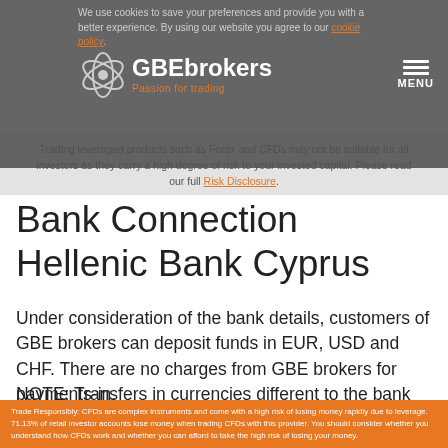We use cookies to save your preferences and provide you with a better experience. By using our website you agree to our cookie policy.
[Figure (logo): GBE brokers logo with orbital sphere icon and tagline 'Passion for trading']
Trading leveraged products such as Forex and CFDs may not be suitable for all investors as they carry a high degree of risk to your invested capital. Please read our full Risk Disclosure.
Bank Connection Hellenic Bank Cyprus
Under consideration of the bank details, customers of GBE brokers can deposit funds in EUR, USD and CHF. There are no charges from GBE brokers for payments-in.
NOTE: Transfers in currencies different to the bank account base currency will be converted into the base currency.
Trade Responsibly: CFDs are complex instruments and come with a high risk of losing money rapidly due to leverage. 71.13% of retail investor accounts lose money when trading CFDs with this provider. You should consider whether you understand how CFDs work and whether you can afford to take the high risk of losing your money.